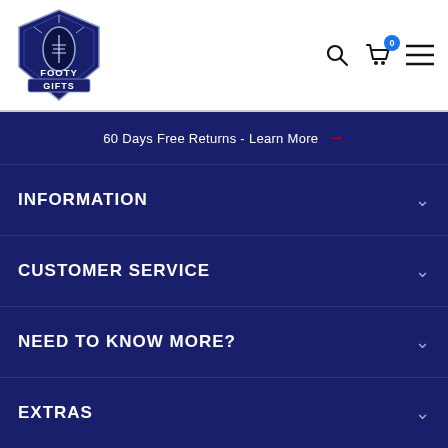[Figure (logo): Footy Gifts logo — dark blue shield with rugby ball and text FOOTY GIFTS]
60 Days Free Returns - Learn More →
INFORMATION
CUSTOMER SERVICE
NEED TO KNOW MORE?
EXTRAS
CONTACT INFO